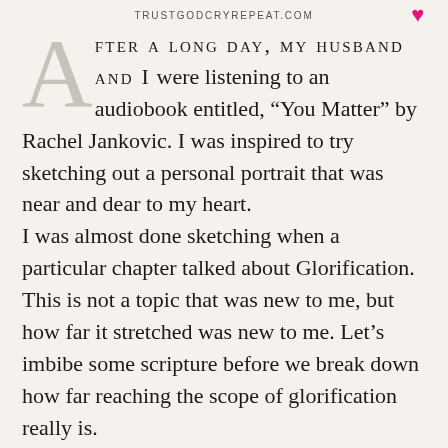TRUSTGODCRYREPEAT.COM
After a long day, my husband and I were listening to an audiobook entitled, “You Matter” by Rachel Jankovic. I was inspired to try sketching out a personal portrait that was near and dear to my heart.
I was almost done sketching when a particular chapter talked about Glorification. This is not a topic that was new to me, but how far it stretched was new to me. Let’s imbibe some scripture before we break down how far reaching the scope of glorification really is.